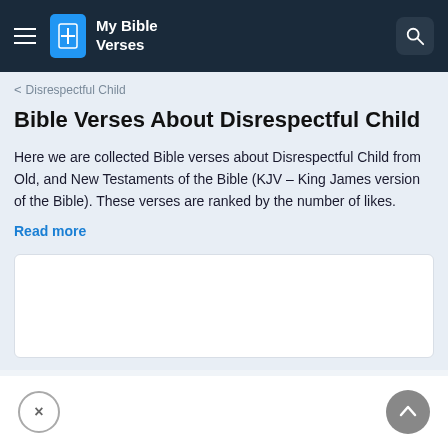My Bible Verses
< Disrespectful Child
Bible Verses About Disrespectful Child
Here we are collected Bible verses about Disrespectful Child from Old, and New Testaments of the Bible (KJV – King James version of the Bible). These verses are ranked by the number of likes.
Read more
[Figure (other): White advertisement/content card area]
Close and scroll-to-top buttons